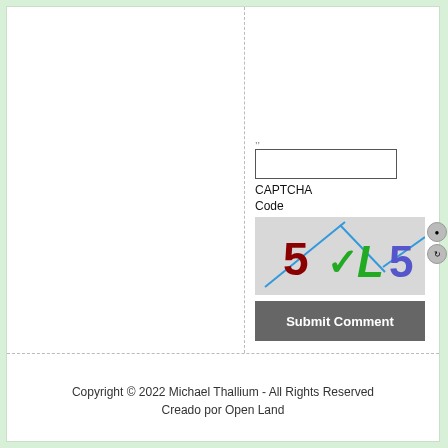[Figure (screenshot): CAPTCHA input field with label 'CAPTCHA Code']
[Figure (screenshot): CAPTCHA image showing '5 V L 5' with colored letters and blue lines on grey background]
[Figure (screenshot): Submit Comment button (dark grey)]
Copyright © 2022 Michael Thallium - All Rights Reserved
Creado por Open Land